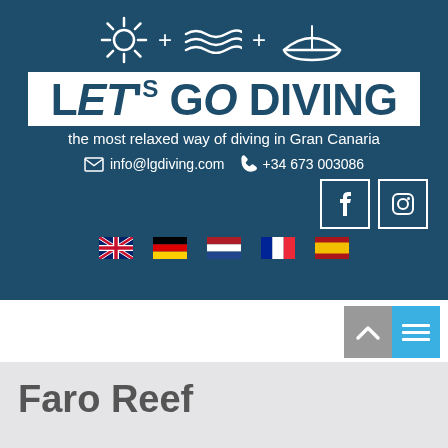[Figure (logo): Let's Go Diving logo with sun, waves, and boat icons on dark blue background, white box with company name, tagline, contact info, social media icons, and language flags]
[Figure (infographic): Navigation widget with gray arrow-up icon and blue hamburger menu icon]
Faro Reef